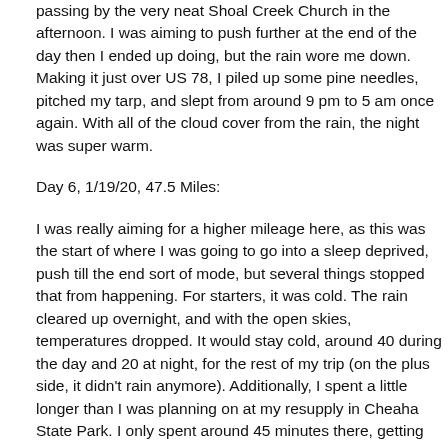passing by the very neat Shoal Creek Church in the afternoon. I was aiming to push further at the end of the day then I ended up doing, but the rain wore me down. Making it just over US 78, I piled up some pine needles, pitched my tarp, and slept from around 9 pm to 5 am once again. With all of the cloud cover from the rain, the night was super warm.
Day 6, 1/19/20, 47.5 Miles:
I was really aiming for a higher mileage here, as this was the start of where I was going to go into a sleep deprived, push till the end sort of mode, but several things stopped that from happening. For starters, it was cold. The rain cleared up overnight, and with the open skies, temperatures dropped. It would stay cold, around 40 during the day and 20 at night, for the rest of my trip (on the plus side, it didn't rain anymore). Additionally, I spent a little longer than I was planning on at my resupply in Cheaha State Park. I only spent around 45 minutes there, getting my box, while eating ice cream and microwaved burritos (I chose not to go to the restaurant so I didn't get sucked into a town vortex), but I had originally been hoping to keep it to 30 minutes. My inReach also started acting up around